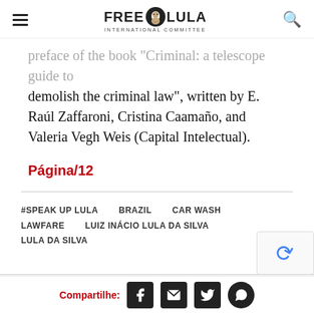FREE LULA INTERNATIONAL COMMITTEE
preface of the book "Criminal: a telescope guide to demolish the criminal law", written by E. Raúl Zaffaroni, Cristina Caamaño, and Valeria Vegh Weis (Capital Intelectual).
Página/12
#SPEAK UP LULA
BRAZIL
CAR WASH
LAWFARE
LUIZ INÁCIO LULA DA SILVA
LULA DA SILVA
Compartilhe: